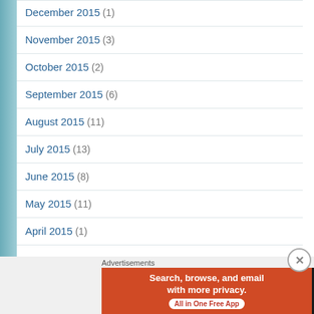December 2015 (1)
November 2015 (3)
October 2015 (2)
September 2015 (6)
August 2015 (11)
July 2015 (13)
June 2015 (8)
May 2015 (11)
April 2015 (1)
Blog Stats
Advertisements
[Figure (screenshot): DuckDuckGo ad banner: Search, browse, and email with more privacy. All in One Free App. DuckDuckGo logo on dark background.]